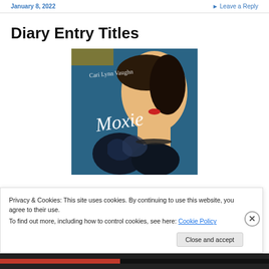January 8, 2022   ▸ Leave a Reply
Diary Entry Titles
[Figure (illustration): Book cover for 'Moxie' by Cari Lynn Vaughn, showing a painted illustration of a woman's face and neck with decorative swirling patterns, teal/blue background with the title 'Moxie' in white script.]
Privacy & Cookies: This site uses cookies. By continuing to use this website, you agree to their use.
To find out more, including how to control cookies, see here: Cookie Policy
Close and accept